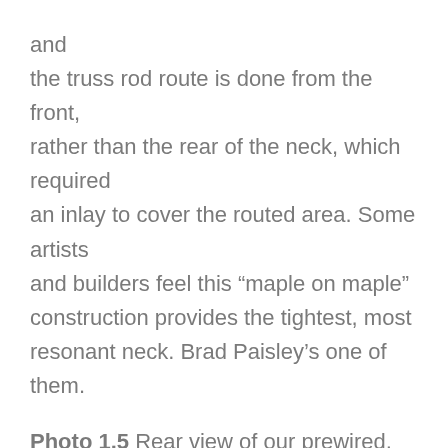and the truss rod route is done from the front, rather than the rear of the neck, which required an inlay to cover the routed area. Some artists and builders feel this “maple on maple” construction provides the tightest, most resonant neck. Brad Paisley’s one of them.
Photo 1.5 Rear view of our prewired, Strat-style pickguard assembly. The pickups and electronic components are already soldered, ready for some final connections. The quality of these components is fairly